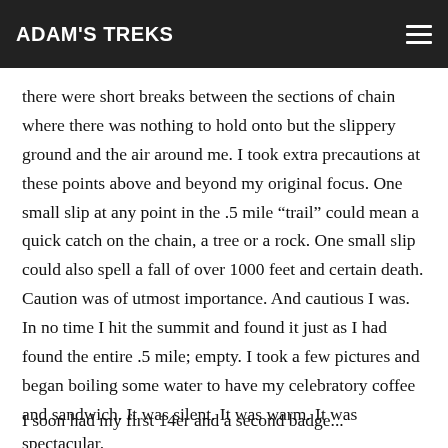ADAM'S TREKS
despite my fear of heights, I felt quite confident and energized by the thrill of the climb.  Five to ten times there were short breaks between the sections of chain where there was nothing to hold onto but the slippery ground and the air around me.  I took extra precautions at these points above and beyond my original focus.  One small slip at any point in the .5 mile “trail” could mean a quick catch on the chain, a tree or a rock.  One small slip could also spell a fall of over 1000 feet and certain death.  Caution was of utmost importance.  And cautious I was.  In no time I hit the summit and found it just as I had found the entire .5 mile; empty.  I took a few pictures and began boiling some water to have my celebratory coffee and sandwich.  It was silent.  It was warm.  It was spectacular.
I soon had my first 14er and a second badge...